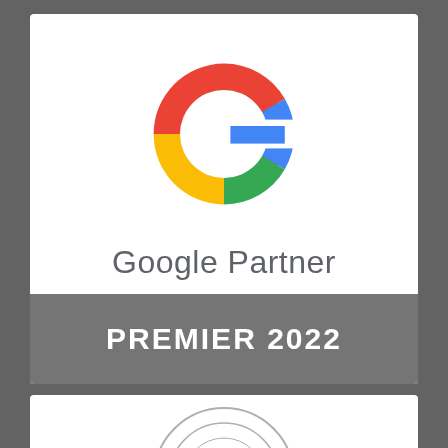[Figure (logo): Google Partner Premier 2022 badge. Top white card with Google 'G' multicolor logo and text 'Google Partner', gray banner at bottom reading 'PREMIER 2022'. Below is a partially visible circular certification badge.]